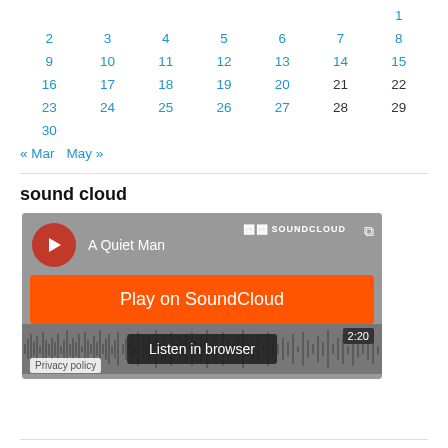|  |  |  |  |  |  | 1 |
| 2 | 3 | 4 | 5 | 6 | 7 | 8 |
| 9 | 10 | 11 | 12 | 13 | 14 | 15 |
| 16 | 17 | 18 | 19 | 20 | 21 | 22 |
| 23 | 24 | 25 | 26 | 27 | 28 | 29 |
| 30 |  |  |  |  |  |  |
« Mar    May »
sound cloud
[Figure (screenshot): SoundCloud embedded player widget showing 'A Quiet Man' with Play on SoundCloud button, waveform, Listen in browser button, duration 2:20, and 165 plays. Privacy policy link visible.]